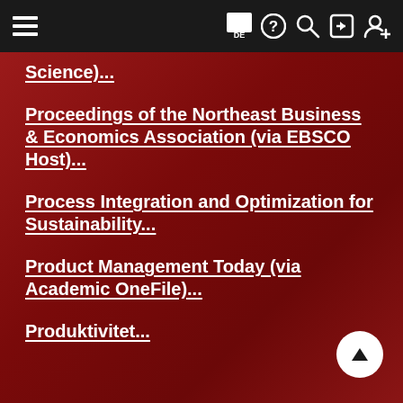Navigation bar with hamburger menu, flag DE, help, search, login, and add user icons
Science)...
Proceedings of the Northeast Business & Economics Association (via EBSCO Host)...
Process Integration and Optimization for Sustainability...
Product Management Today (via Academic OneFile)...
Produktivitet...